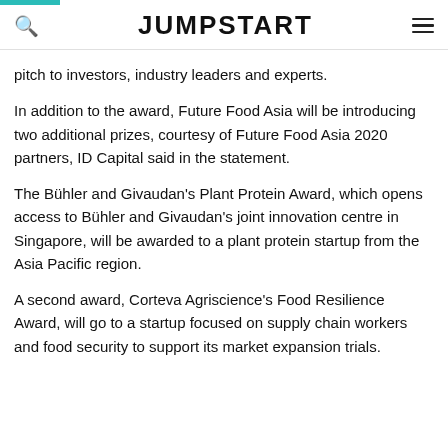JUMPSTART
pitch to investors, industry leaders and experts.
In addition to the award, Future Food Asia will be introducing two additional prizes, courtesy of Future Food Asia 2020 partners, ID Capital said in the statement.
The Bühler and Givaudan's Plant Protein Award, which opens access to Bühler and Givaudan's joint innovation centre in Singapore, will be awarded to a plant protein startup from the Asia Pacific region.
A second award, Corteva Agriscience's Food Resilience Award, will go to a startup focused on supply chain workers and food security to support its market expansion trials.